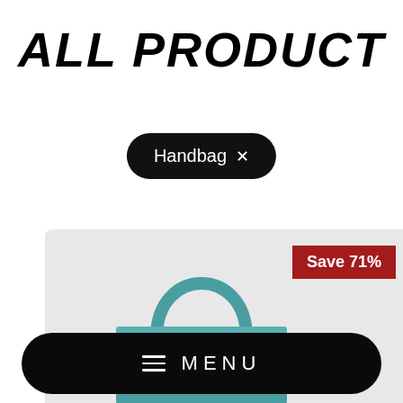ALL PRODUCT
Handbag ×
[Figure (photo): A teal/blue-green leather handbag with a top handle and gold-tone hardware, shown against a light grey background. The bag has a structured body with a flap and chain shoulder strap.]
Save 71%
≡  MENU